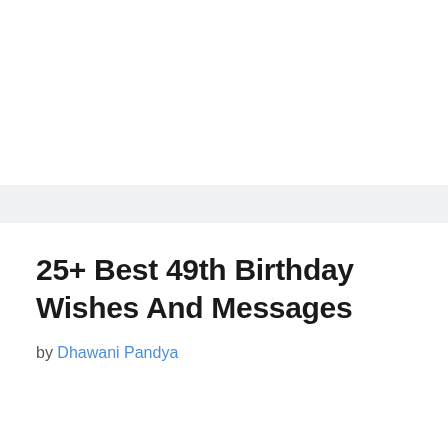25+ Best 49th Birthday Wishes And Messages
by Dhawani Pandya